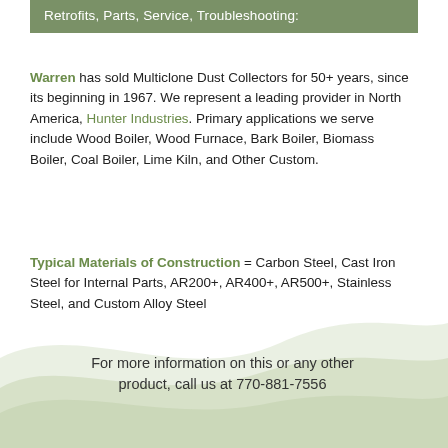Retrofits, Parts, Service, Troubleshooting:
Warren has sold Multiclone Dust Collectors for 50+ years, since its beginning in 1967. We represent a leading provider in North America, Hunter Industries. Primary applications we serve include Wood Boiler, Wood Furnace, Bark Boiler, Biomass Boiler, Coal Boiler, Lime Kiln, and Other Custom.
Typical Materials of Construction = Carbon Steel, Cast Iron Steel for Internal Parts, AR200+, AR400+, AR500+, Stainless Steel, and Custom Alloy Steel
For more information on this or any other product, call us at 770-881-7556